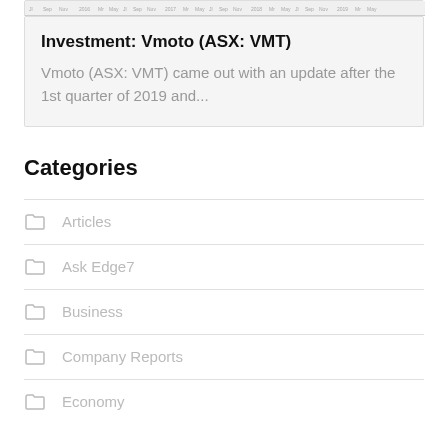[Figure (other): Stock chart strip showing price data across 2016-2019 timeline]
Investment: Vmoto (ASX: VMT)
Vmoto (ASX: VMT) came out with an update after the 1st quarter of 2019 and...
Categories
Articles
Ask Edge7
Business
Company Reports
Economy